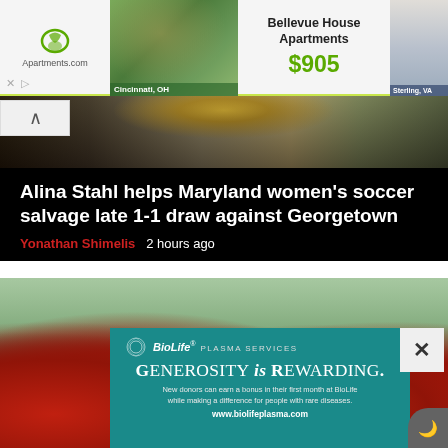[Figure (screenshot): Apartments.com advertisement banner showing Cincinnati OH and Sterling VA apartment listings for Bellevue House Apartments at $905]
[Figure (photo): Soccer player in yellow jersey, partial view from sports news article]
Alina Stahl helps Maryland women’s soccer salvage late 1-1 draw against Georgetown
Yonathan Shimelis   2 hours ago
[Figure (photo): Group of young girls in red soccer uniforms viewed from behind]
[Figure (screenshot): BioLife Plasma Services advertisement: Generosity is Rewarding. New donors can earn a bonus in their first month at BioLife while making a difference for people with rare diseases. www.biolifeplasma.com]